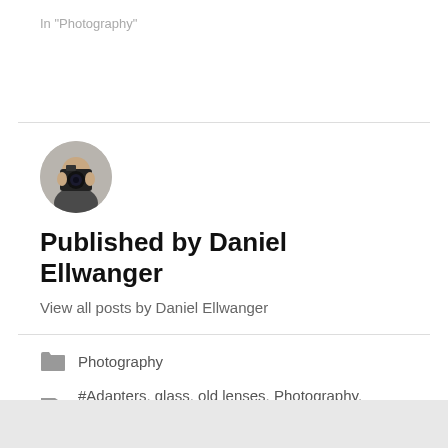In "Photography"
[Figure (photo): Circular avatar photo of a person holding a camera in front of their face against a light background]
Published by Daniel Ellwanger
View all posts by Daniel Ellwanger
Photography
#Adapters, glass, old lenses, Photography, vintage